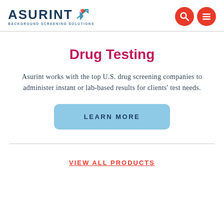[Figure (logo): Asurint logo with blue text and orange arrow icon, subtitle reads BACKGROUND SCREENING SOLUTIONS]
[Figure (other): Two red circular icons: a search/magnifying glass icon and a hamburger menu icon]
Drug Testing
Asurint works with the top U.S. drug screening companies to administer instant or lab-based results for clients' test needs.
LEARN MORE
VIEW ALL PRODUCTS